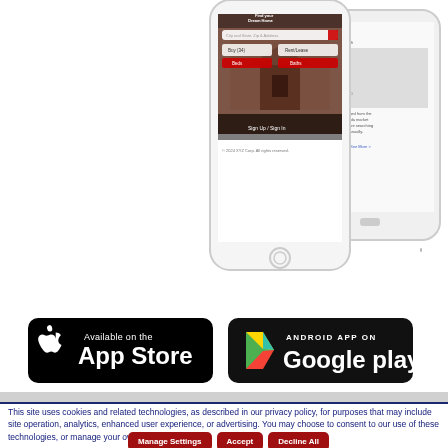[Figure (screenshot): Two smartphone mockups showing a real estate app with 'Find your Dream Home' screen and property listing details screen]
[Figure (logo): Available on the App Store button - black rounded rectangle with Apple logo]
[Figure (logo): Android App on Google Play button - black rounded rectangle with Google Play triangle logo]
This site uses cookies and related technologies, as described in our privacy policy, for purposes that may include site operation, analytics, enhanced user experience, or advertising. You may choose to consent to our use of these technologies, or manage your own preferences.
Manage Settings
Accept
Decline All